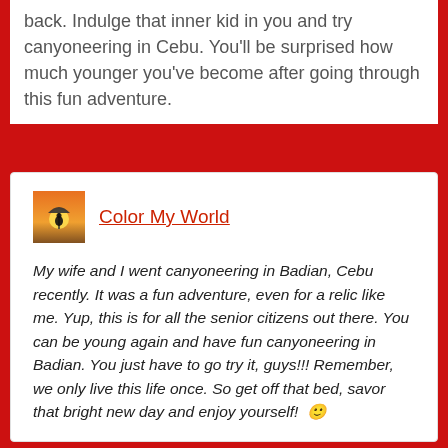back. Indulge that inner kid in you and try canyoneering in Cebu. You'll be surprised how much younger you've become after going through this fun adventure.
[Figure (photo): Small square avatar photo showing a silhouette of a person under an umbrella at sunset]
Color My World
My wife and I went canyoneering in Badian, Cebu recently. It was a fun adventure, even for a relic like me. Yup, this is for all the senior citizens out there. You can be young again and have fun canyoneering in Badian. You just have to go try it, guys!!! Remember, we only live this life once. So get off that bed, savor that bright new day and enjoy yourself! 🙂